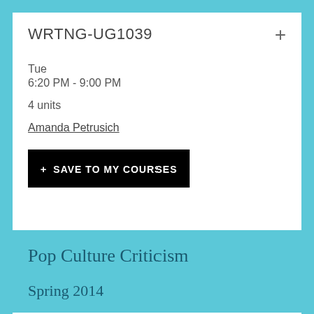WRTNG-UG1039
Tue
6:20 PM - 9:00 PM

4 units
Amanda Petrusich
+ SAVE TO MY COURSES
Pop Culture Criticism
Spring 2014